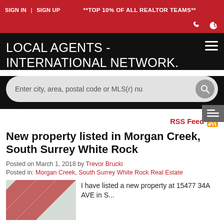SIGN IN | SIGN UP   **TOP 10% OF ALL REALTOR TEAMS**
LOCAL AGENTS - INTERNATIONAL NETWORK.
Enter city, area, postal code or MLS(r) nu
RSS Feed
New property listed in Morgan Creek, South Surrey White Rock
Posted on March 1, 2018 by Trevor Brucki
Posted in: Morgan Creek, South Surrey White Rock Real Estate
I have listed a new property at 15477 34A AVE in S...